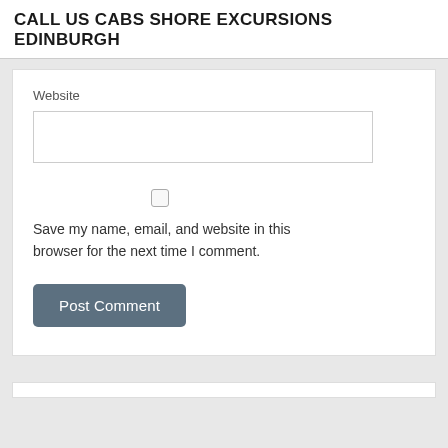CALL US CABS SHORE EXCURSIONS EDINBURGH
Website
[Figure (other): Empty text input field for website URL]
[Figure (other): Unchecked checkbox]
Save my name, email, and website in this browser for the next time I comment.
[Figure (other): Post Comment button]